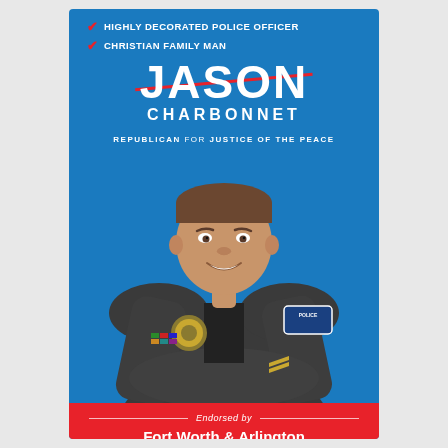HIGHLY DECORATED POLICE OFFICER
CHRISTIAN FAMILY MAN
JASON CHARBONNET
REPUBLICAN FOR JUSTICE OF THE PEACE
[Figure (photo): Jason Charbonnet in police uniform with arms crossed, smiling, wearing badge and police patches on blue background]
Endorsed by Fort Worth & Arlington Police Officers Associations